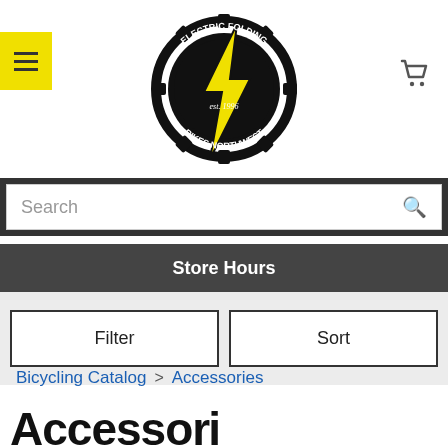[Figure (logo): Electric Folding Bikes Northwest logo: gear/sprocket circle with yellow lightning bolt in center, text reading ELECTRIC FOLDING BIKES NORTHWEST est. 1996]
Search
Store Hours
Filter
Sort
Bicycling Catalog > Accessories
Accesso...